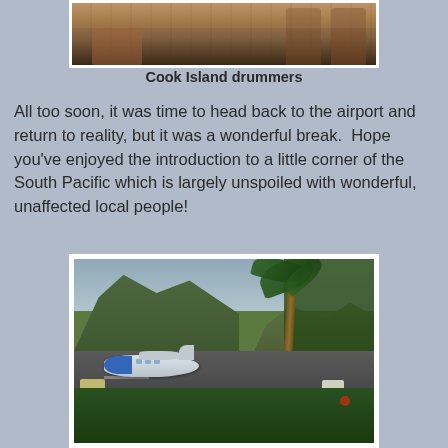[Figure (photo): Partial view of Cook Island drummers in a restaurant or open-air venue setting, showing people and wooden furniture]
Cook Island drummers
All too soon, it was time to head back to the airport and return to reality, but it was a wonderful break.  Hope you've enjoyed the introduction to a little corner of the South Pacific which is largely unspoiled with wonderful, unaffected local people!
[Figure (photo): Airport scene with a small blue and white airplane on a runway, framed by tropical palm trees and lush green mountains in the background]